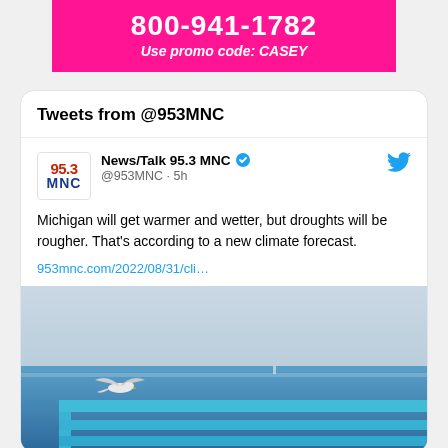[Figure (infographic): Magenta/pink banner advertisement with phone number 800-941-1782 and promo code CASEY]
Tweets from @953MNC
News/Talk 95.3 MNC @953MNC · 5h
Michigan will get warmer and wetter, but droughts will be rougher. That's according to a new climate forecast.
953mnc.com/2022/08/31/cli…
[Figure (photo): Photo of Lake Michigan with blue water, hazy sky, a seagull in flight, and a blue bench/railing in the foreground]